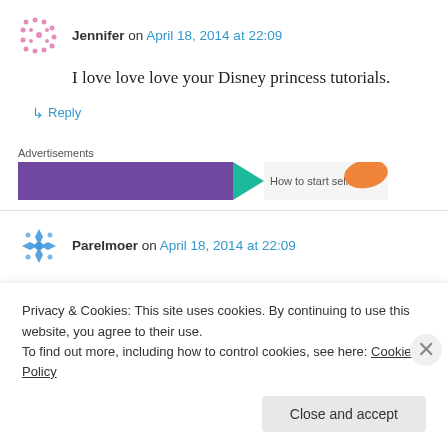Jennifer on April 18, 2014 at 22:09
I love love love your Disney princess tutorials.
↳ Reply
Advertisements
[Figure (other): Partial advertisement banner showing purple bar with teal arrow and orange shape]
Parelmoer on April 18, 2014 at 22:09
Privacy & Cookies: This site uses cookies. By continuing to use this website, you agree to their use. To find out more, including how to control cookies, see here: Cookie Policy
Close and accept